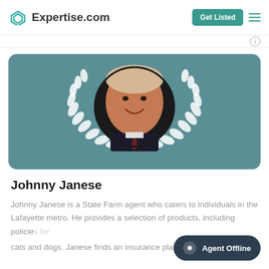Expertise.com
[Figure (photo): Professional headshot of Johnny Janese, a middle-aged man with short blond hair, smiling, wearing a dark suit with a tie, displayed in a circular frame with a white laurel wreath on a teal background card]
Johnny Janese
Johnny Janese is a State Farm agent who caters to individuals in the Lafayette metro. He provides a selection of products, including policies for cats and dogs. Janese finds an insurance plan that